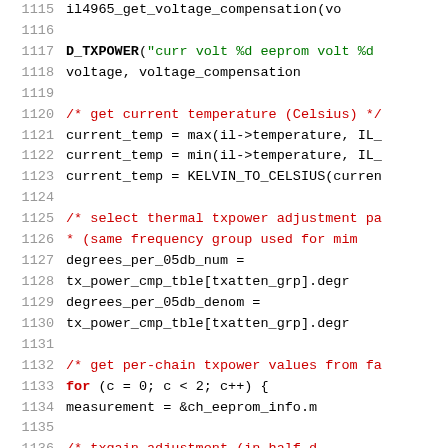[Figure (screenshot): Source code listing showing C code for voltage compensation and temperature adjustment logic, lines 1115-1136.]